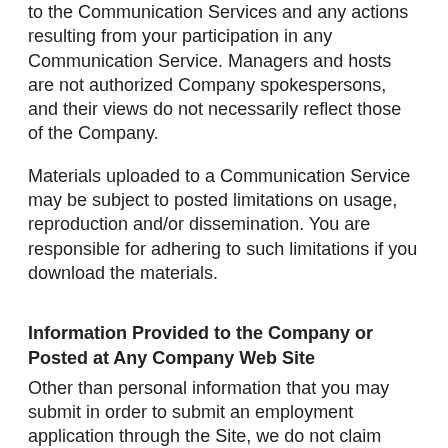to the Communication Services and any actions resulting from your participation in any Communication Service. Managers and hosts are not authorized Company spokespersons, and their views do not necessarily reflect those of the Company.
Materials uploaded to a Communication Service may be subject to posted limitations on usage, reproduction and/or dissemination. You are responsible for adhering to such limitations if you download the materials.
Information Provided to the Company or Posted at Any Company Web Site
Other than personal information that you may submit in order to submit an employment application through the Site, we do not claim ownership of the materials or information you provide to us (including feedback and suggestions) or post, upload, input or submit to any Site or its associated services (collectively “Submissions”). However, by posting, uploading, inputting, providing or submitting your Submission you